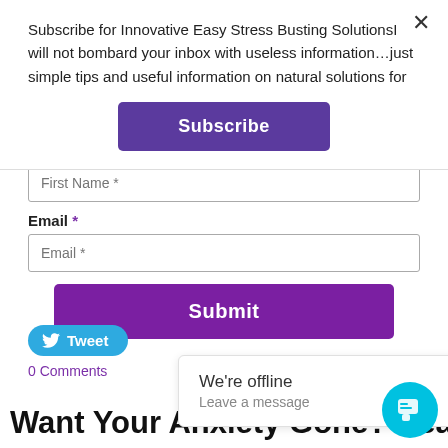Subscribe for Innovative Easy Stress Busting SolutionsI will not bombard your inbox with useless information…just simple tips and useful information on natural solutions for
Subscribe
First Name *
Email *
Email *
Submit
Tweet
0 Comments
We're offline
Leave a message
Want Your Anxiety Gone? Read